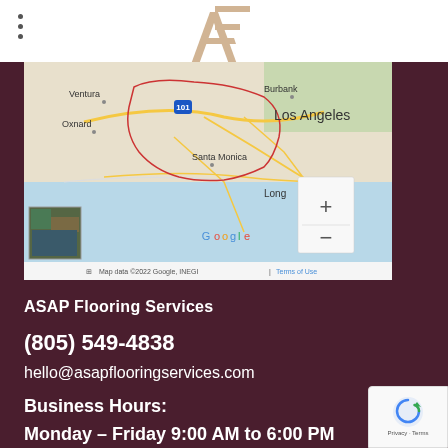[Figure (logo): ASAP Flooring Services logo — angular A and F letterform in tan/beige on white background]
[Figure (map): Google Maps screenshot showing the Los Angeles area including Ventura, Oxnard, Burbank, Santa Monica, and Long Beach. Map data ©2022 Google, INEGI. Zoom controls (+/-) visible on the right side.]
ASAP Flooring Services
(805) 549-4838
hello@asapflooringservices.com
Business Hours:
Monday – Friday 9:00 AM to 6:00 PM